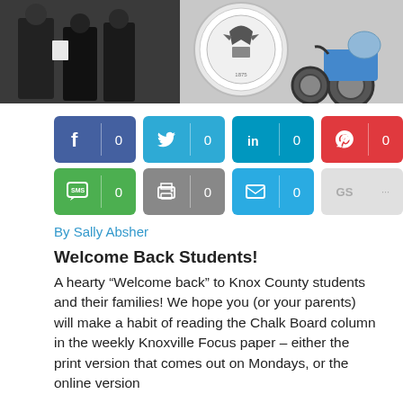[Figure (photo): Group of people standing outdoors near a motorcycle and a seal/emblem, partial view cut at top]
[Figure (infographic): Social share buttons: Facebook (0), Twitter (0), LinkedIn (0), Pinterest (0), SMS (0), Print (0), Email (0), GS (...)]
By Sally Absher
Welcome Back Students!
A hearty “Welcome back” to Knox County students and their families! We hope you (or your parents) will make a habit of reading the Chalk Board column in the weekly Knoxville Focus paper – either the print version that comes out on Mondays, or the online version